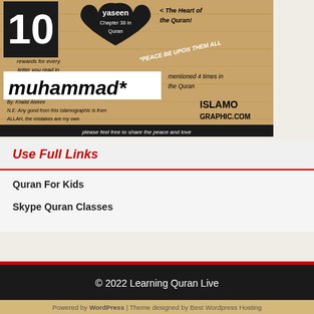[Figure (infographic): Islamic infographic on wood background showing: '10' in black box, 'yaseen - Chapter 36 in Quran' in heart shape, '< The Heart of the Quran!', 'rewards for every letter you read in the Quran', '*PEACE BE UPON THEM ALL', 'muhammad* mentioned 4 times in the Quran', attribution to Khalid Alekee, ISLAMOGRAPHIC.COM, and bottom bar 'please feel free to share the peace and love']
Use Full Links
Quran For Kids
Skype Quran Classes
© 2022 Learning Quran Live
Powered by WordPress | Theme designed by Best Wordpress Hosting